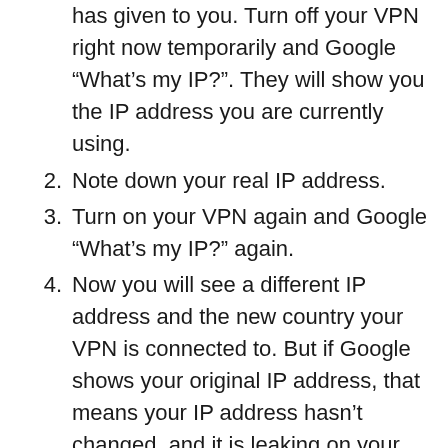has given to you. Turn off your VPN right now temporarily and Google “What’s my IP?”. They will show you the IP address you are currently using.
2. Note down your real IP address.
3. Turn on your VPN again and Google “What’s my IP?” again.
4. Now you will see a different IP address and the new country your VPN is connected to. But if Google shows your original IP address, that means your IP address hasn’t changed, and it is leaking on your VPN.
5. However, along with the IP tests, DNS tests fail too, and it does not detect any leaks in the DNS. So, you have to try a